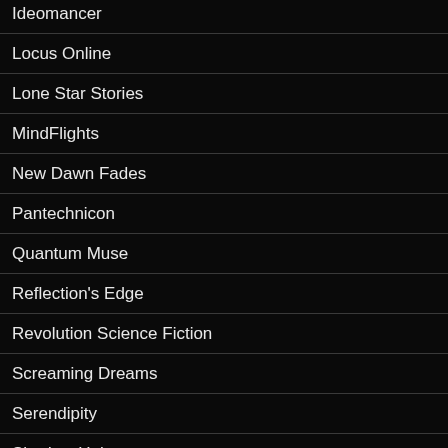Ideomancer
Locus Online
Lone Star Stories
MindFlights
New Dawn Fades
Pantechnicon
Quantum Muse
Reflection's Edge
Revolution Science Fiction
Screaming Dreams
Serendipity
Shadow Unit
Shimmer